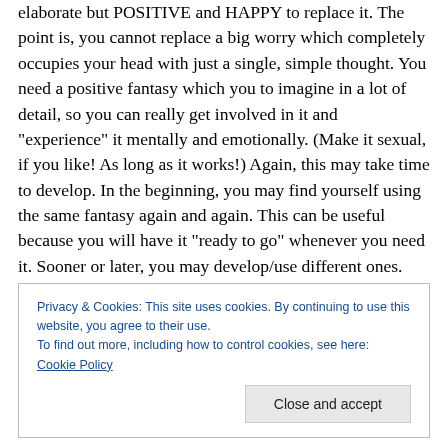elaborate but POSITIVE and HAPPY to replace it. The point is, you cannot replace a big worry which completely occupies your head with just a single, simple thought. You need a positive fantasy which you to imagine in a lot of detail, so you can really get involved in it and "experience" it mentally and emotionally. (Make it sexual, if you like! As long as it works!) Again, this may take time to develop. In the beginning, you may find yourself using the same fantasy again and again. This can be useful because you will have it "ready to go" whenever you need it. Sooner or later, you may develop/use different ones. Whatever works
Privacy & Cookies: This site uses cookies. By continuing to use this website, you agree to their use.
To find out more, including how to control cookies, see here: Cookie Policy
Close and accept